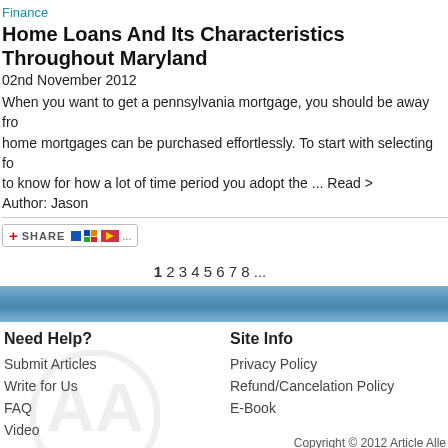Finance
Home Loans And Its Characteristics Throughout Maryland
02nd November 2012
When you want to get a pennsylvania mortgage, you should be away fro... home mortgages can be purchased effortlessly. To start with selecting fo... to know for how a lot of time period you adopt the ... Read >
Author: Jason
[Figure (other): Share button widget with social media icons]
1 2 3 4 5 6 7 8 ...
Need Help?
Submit Articles
Write for Us
FAQ
Video
Site Info
Privacy Policy
Refund/Cancelation Policy
E-Book
Copyright © 2012 Article Alle... Other product and company names s... © Oyster Interne...